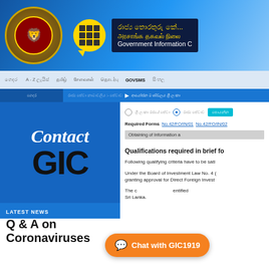[Figure (logo): Sri Lanka government emblem on blue gradient header with GIC logo (yellow circle with grid icon) and Sinhala, Tamil, English text: Government Information C...]
Navigation bar with menu items including GOVSMS
Breadcrumb navigation bar
[Figure (illustration): Contact GIC panel with blue background, italic 'Contact' text and bold black 'GIC' text]
LATEST NEWS
Q & A on Coronaviruses
Required Forms   No.42/FO/IN/01   No.42/FO/IN/02
Obtaining of Information a
Qualifications required in brief fo
Following qualifying criteria have to be sati
Under the Board of Investment Law No. 4 (... granting approval for Direct Foreign Invest...
The C... ...entified Sri Lanka.
[Figure (other): Orange chat button with speech bubble icon: Chat with GIC1919]